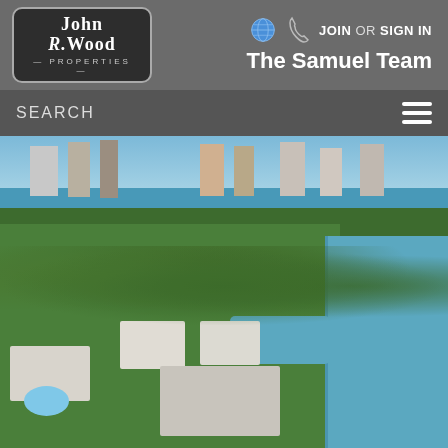[Figure (logo): John R. Wood Properties logo in dark rounded rectangle]
JOIN OR SIGN IN
The Samuel Team
SEARCH
[Figure (photo): Aerial drone photograph of a waterfront Florida neighborhood with canal, tropical landscaping, residential homes with pools, and high-rise condos near the ocean in the background]